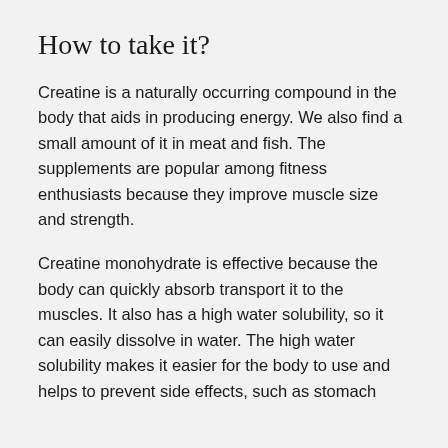How to take it?
Creatine is a naturally occurring compound in the body that aids in producing energy. We also find a small amount of it in meat and fish. The supplements are popular among fitness enthusiasts because they improve muscle size and strength.
Creatine monohydrate is effective because the body can quickly absorb transport it to the muscles. It also has a high water solubility, so it can easily dissolve in water. The high water solubility makes it easier for the body to use and helps to prevent side effects, such as stomach